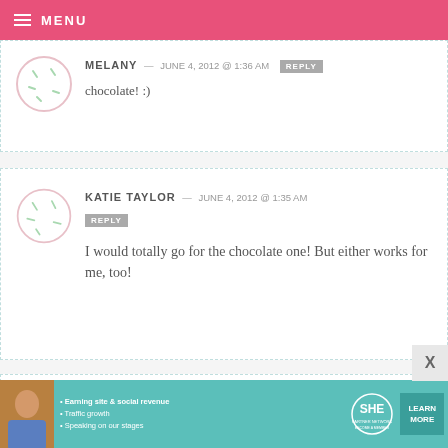MENU
MELANY — JUNE 4, 2012 @ 1:36 AM  REPLY
chocolate! :)
KATIE TAYLOR — JUNE 4, 2012 @ 1:35 AM  REPLY
I would totally go for the chocolate one! But either works for me, too!
MEGAN — JUNE 4, 2012 @ 1:35 AM  REPLY
[Figure (infographic): SHE Partner Network advertisement banner with woman photo, bullet points about earning site & social revenue, traffic growth, speaking on our stages, and a Learn More button]